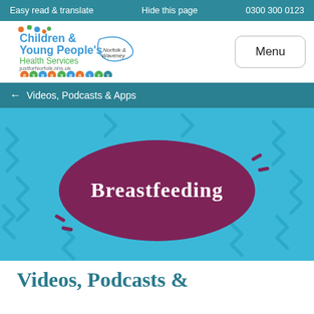Easy read & translate   Hide this page   0300 300 0123
[Figure (logo): Children & Young People's Health Services logo with Just forNorfolk.nhs.uk and phone number 0300 300 0123 in coloured circles, Norfolk & Waveney text with curved ribbon]
Menu
← Videos, Podcasts & Apps
[Figure (illustration): Blue background with light blue zigzag/squiggle pattern, a large dark magenta/maroon oval speech bubble shape containing white handwritten-style text 'Breastfeeding', with small decorative dash marks around it]
Videos, Podcasts &